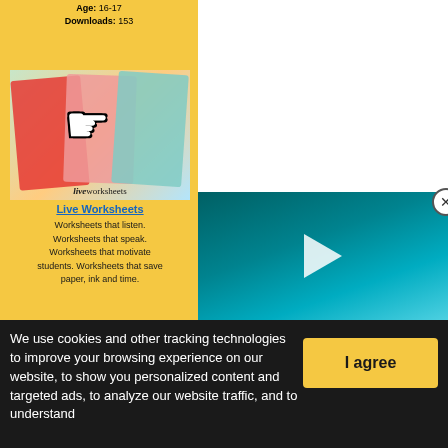Age: 16-17
Downloads: 153
[Figure (screenshot): Live Worksheets advertisement image showing colorful worksheet cards with a hand cursor icon and the liveworksheets logo]
Live Worksheets
Worksheets that listen. Worksheets that speak. Worksheets that motivate students. Worksheets that save paper, ink and time.
[Figure (screenshot): Video player showing an underwater/spiral pattern image with a play button, and a close (X) button]
We use cookies and other tracking technologies to improve your browsing experience on our website, to show you personalized content and targeted ads, to analyze our website traffic, and to understand
I agree